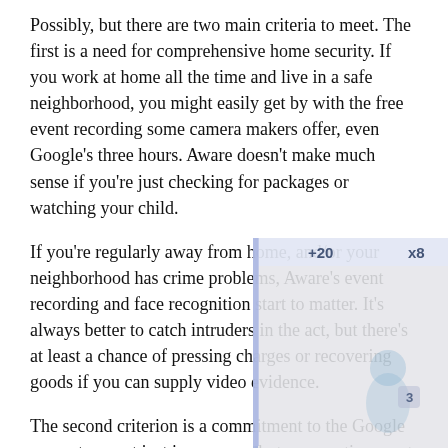Possibly, but there are two main criteria to meet. The first is a need for comprehensive home security. If you work at home all the time and live in a safe neighborhood, you might easily get by with the free event recording some camera makers offer, even Google's three hours. Aware doesn't make much sense if you're just checking for packages or watching your child.
If you're regularly away from home, and/or your neighborhood has crime problems, Aware's event recording and face recognition start to matter. It's always better to catch intruders in the act, but there's at least a chance of pressing charges or recovering goods if you can supply video evidence.
The second criterion is a commitment to the Google ecosystem, not just in cameras, but as an entire smart home platform. If you have an Amazon Echo Show as your smart display, you'll automatically get more out of Alexa-compatible cameras. Similarly, if you already have cameras from companies like Arlo or Wyze, it's illogical to complicate your system by adding Google models, never mind paying for Aware, which is exclusive to Nest hardware.
[Figure (screenshot): A semi-transparent overlay/screenshot artifact appearing over the right portion of the second and third text paragraphs, showing a faint UI panel with a vertical blue bar, partial text '+20' and 'x8', and a faint image of a figure, typical of a browser or app overlay.]